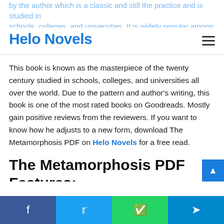Helo Novels
This book is known as the masterpiece of the twenty century studied in schools, colleges, and universities all over the world. Due to the pattern and author's writing, this book is one of the most rated books on Goodreads. Mostly gain positive reviews from the reviewers. If you want to know how he adjusts to a new form, download The Metamorphosis PDF on Helo Novels for a free read.
The Metamorphosis PDF Features:
We are bringing The Metamorphosis eBook on our
f  t  WhatsApp  Telegram